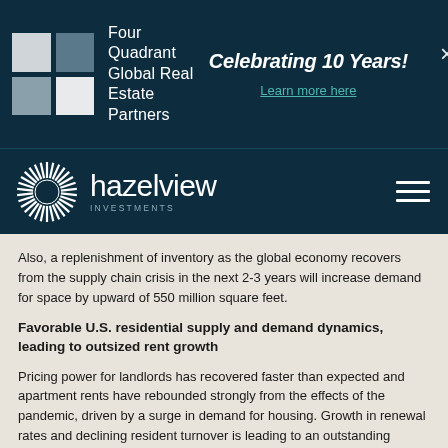Four Quadrant Global Real Estate Partners | Celebrating 10 Years! | Learn more here
[Figure (logo): Hazelview Investments logo with circular sunburst emblem and company name]
Also, a replenishment of inventory as the global economy recovers from the supply chain crisis in the next 2-3 years will increase demand for space by upward of 550 million square feet.
Favorable U.S. residential supply and demand dynamics, leading to outsized rent growth
Pricing power for landlords has recovered faster than expected and apartment rents have rebounded strongly from the effects of the pandemic, driven by a surge in demand for housing. Growth in renewal rates and declining resident turnover is leading to an outstanding comeback for market rents. This is paired with the ever-increasing trend of millennials preferring to rent residential space versus purchase, a trend also